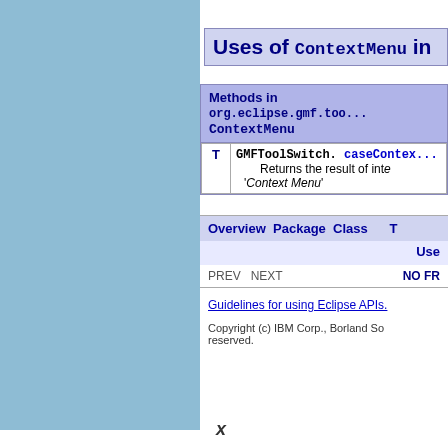Uses of ContextMenu in
| Methods in org.eclipse.gmf.too... ContextMenu |
| --- |
| T | GMFToolSwitch. caseContex...
 Returns the result of int... 'Context Menu' |
| Overview  Package  Class  T   Use |
| --- |
| PREV  NEXT | NO FR... |
Guidelines for using Eclipse APIs.
Copyright (c) IBM Corp., Borland So... reserved.